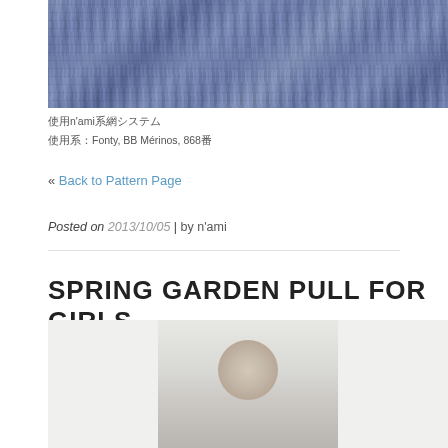[Figure (photo): Close-up photograph of blue/indigo knitted fabric showing cable knit texture pattern]
使用n'ami糸システム
使用糸：Fonty, BB Mérinos, 868番
« Back to Pattern Page
Posted on 2013/10/05 | by n'ami
SPRING GARDEN PULL FOR GIRLS
[Figure (photo): Partial photo of a girl wearing a knitted pullover sweater]